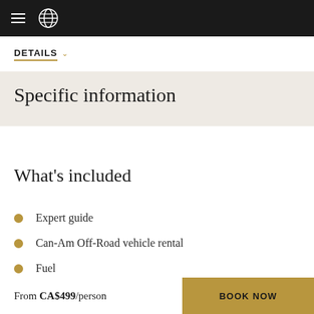Navigation bar with hamburger menu and globe logo
DETAILS
Specific information
What's included
Expert guide
Can-Am Off-Road vehicle rental
Fuel
Helmet
Safety instruction
From CA$499/person  BOOK NOW